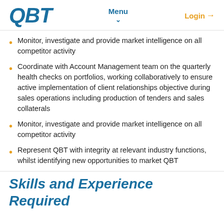QBT | Menu | Login
Monitor, investigate and provide market intelligence on all competitor activity
Coordinate with Account Management team on the quarterly health checks on portfolios, working collaboratively to ensure active implementation of client relationships objective during sales operations including production of tenders and sales collaterals
Monitor, investigate and provide market intelligence on all competitor activity
Represent QBT with integrity at relevant industry functions, whilst identifying new opportunities to market QBT
Skills and Experience Required